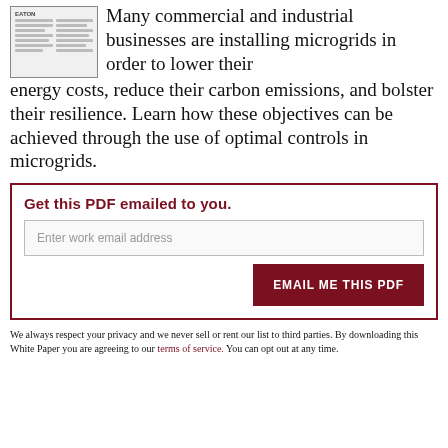[Figure (thumbnail): Small thumbnail image of a document/white paper with Eaton logo and text columns]
Many commercial and industrial businesses are installing microgrids in order to lower their energy costs, reduce their carbon emissions, and bolster their resilience. Learn how these objectives can be achieved through the use of optimal controls in microgrids.
Get this PDF emailed to you.
Enter work email address
EMAIL ME THIS PDF
We always respect your privacy and we never sell or rent our list to third parties. By downloading this White Paper you are agreeing to our terms of service. You can opt out at any time.